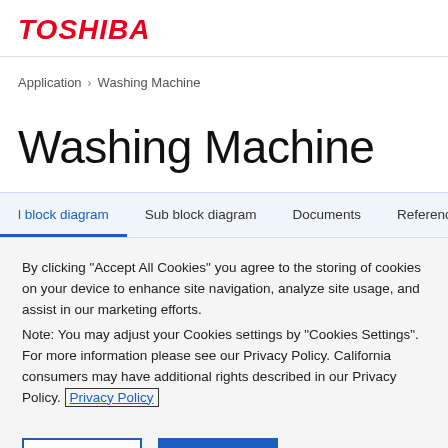TOSHIBA
Application > Washing Machine
Washing Machine
l block diagram  Sub block diagram  Documents  Reference Desig
By clicking “Accept All Cookies” you agree to the storing of cookies on your device to enhance site navigation, analyze site usage, and assist in our marketing efforts.
Note: You may adjust your Cookies settings by “Cookies Settings”. For more information please see our Privacy Policy. California consumers may have additional rights described in our Privacy Policy. Privacy Policy